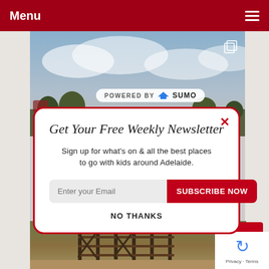Menu
[Figure (screenshot): Background photo showing cloudy sky and bush landscape]
[Figure (logo): POWERED BY SUMO badge]
Get Your Free Weekly Newsletter
Sign up for what's on & all the best places to go with kids around Adelaide.
Enter your Email  SUBSCRIBE NOW
NO THANKS
[Figure (screenshot): Background photo showing bush landscape with wooden fence/structures]
[Figure (screenshot): reCAPTCHA badge with Privacy · Terms text]